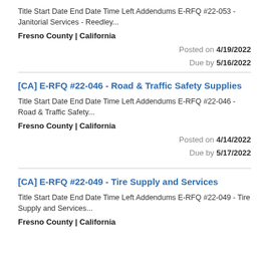Title Start Date End Date Time Left Addendums E-RFQ #22-053 - Janitorial Services - Reedley...
Fresno County | California
Posted on 4/19/2022
Due by 5/16/2022
[CA] E-RFQ #22-046 - Road & Traffic Safety Supplies
Title Start Date End Date Time Left Addendums E-RFQ #22-046 - Road & Traffic Safety...
Fresno County | California
Posted on 4/14/2022
Due by 5/17/2022
[CA] E-RFQ #22-049 - Tire Supply and Services
Title Start Date End Date Time Left Addendums E-RFQ #22-049 - Tire Supply and Services...
Fresno County | California